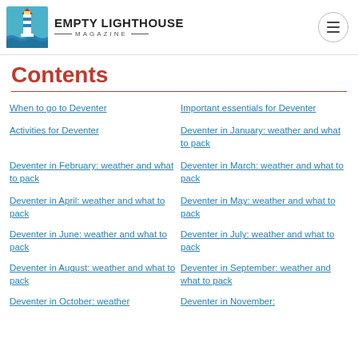EMPTY LIGHTHOUSE MAGAZINE
Contents
When to go to Deventer
Important essentials for Deventer
Activities for Deventer
Deventer in January: weather and what to pack
Deventer in February: weather and what to pack
Deventer in March: weather and what to pack
Deventer in April: weather and what to pack
Deventer in May: weather and what to pack
Deventer in June: weather and what to pack
Deventer in July: weather and what to pack
Deventer in August: weather and what to pack
Deventer in September: weather and what to pack
Deventer in October: weather
Deventer in November: